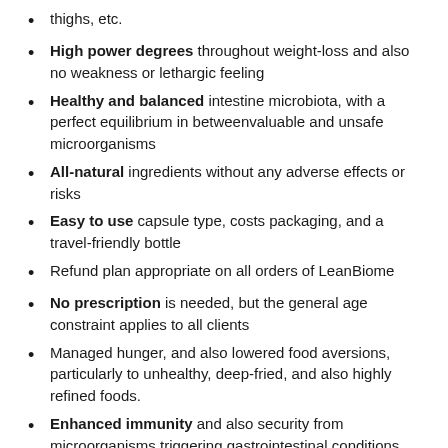thighs, etc.
High power degrees throughout weight-loss and also no weakness or lethargic feeling
Healthy and balanced intestine microbiota, with a perfect equilibrium in betweenvaluable and unsafe microorganisms
All-natural ingredients without any adverse effects or risks
Easy to use capsule type, costs packaging, and a travel-friendly bottle
Refund plan appropriate on all orders of LeanBiome
No prescription is needed, but the general age constraint applies to all clients
Managed hunger, and also lowered food aversions, particularly to unhealthy, deep-fried, and also highly refined foods.
Enhanced immunity and also security from microorganisms triggering gastrointestinal conditions
LeanBiome Cons